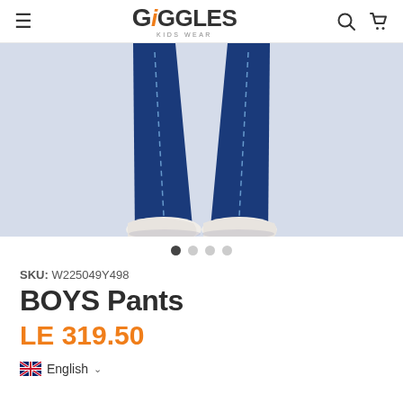Giggles Kids Wear — navigation header with hamburger menu, logo, search and cart icons
[Figure (photo): Product photo showing lower half of a child wearing dark navy blue jeans with visible stitching and white shoes, on a light lavender/grey background]
SKU: W225049Y498
BOYS Pants
LE 319.50
English